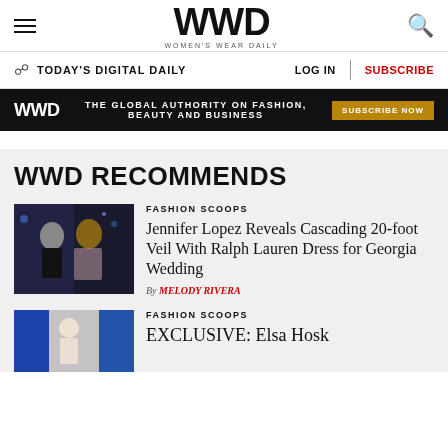WWD — Women's Wear Daily
TODAY'S DIGITAL DAILY | LOG IN | SUBSCRIBE
WWD — THE GLOBAL AUTHORITY ON FASHION, BEAUTY AND BUSINESS — SUBSCRIBE NOW
WWD RECOMMENDS
FASHION SCOOPS
Jennifer Lopez Reveals Cascading 20-foot Veil With Ralph Lauren Dress for Georgia Wedding
By MELODY RIVERA
FASHION SCOOPS
EXCLUSIVE: Elsa Hosk